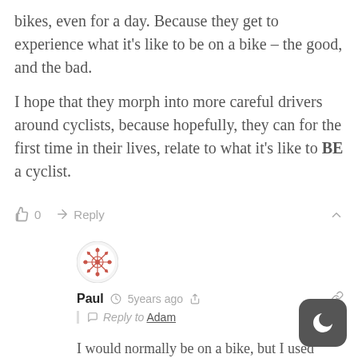bikes, even for a day. Because they get to experience what it's like to be on a bike – the good, and the bad.
I hope that they morph into more careful drivers around cyclists, because hopefully, they can for the first time in their lives, relate to what it's like to BE a cyclist.
👍 0  ➤ Reply  ∧
[Figure (illustration): User avatar icon — circular badge with a decorative geometric/snowflake pattern in red/pink tones]
Paul  🕐 5 years ago  <  🔗   Reply to Adam
I would normally be on a bike, but I used Biketown 4 times in 1 day last week. The demographics are probably spread wider than we think.